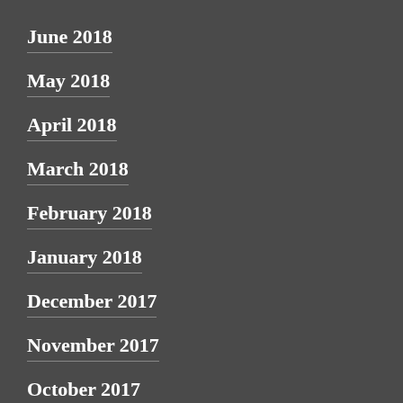June 2018
May 2018
April 2018
March 2018
February 2018
January 2018
December 2017
November 2017
October 2017